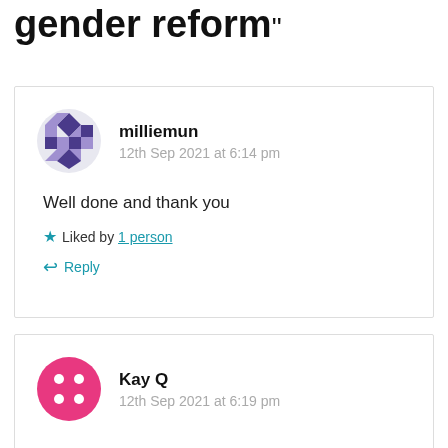gender reform"
milliemun
12th Sep 2021 at 6:14 pm
Well done and thank you
Liked by 1 person
Reply
Kay Q
12th Sep 2021 at 6:19 pm